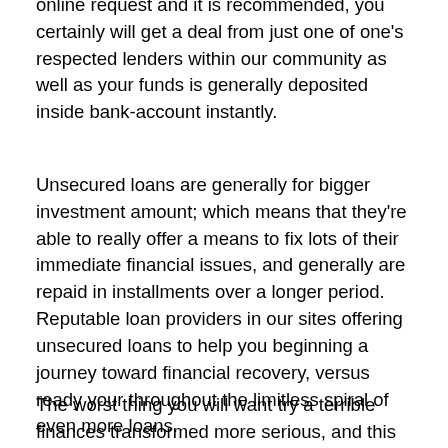online request and it is recommended, you certainly will get a deal from just one of one's respected lenders within our community as well as your funds is generally deposited inside bank-account instantly.
Unsecured loans are generally for bigger investment amount; which means that they're able to really offer a means to fix lots of their immediate financial issues, and generally are repaid in installments over a longer period. Reputable loan providers in our sites offering unsecured loans to help you beginning a journey toward financial recovery, versus ready your throughout the limitless spiral of even more loans.
The worst thing you will want try a terrible finances transformed more serious, and this is where poor credit